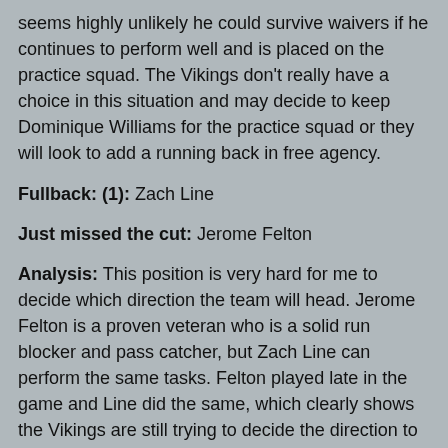seems highly unlikely he could survive waivers if he continues to perform well and is placed on the practice squad. The Vikings don't really have a choice in this situation and may decide to keep Dominique Williams for the practice squad or they will look to add a running back in free agency.
Fullback: (1): Zach Line
Just missed the cut: Jerome Felton
Analysis: This position is very hard for me to decide which direction the team will head. Jerome Felton is a proven veteran who is a solid run blocker and pass catcher, but Zach Line can perform the same tasks. Felton played late in the game and Line did the same, which clearly shows the Vikings are still trying to decide the direction to head. With the way the wide receivers have been performing, I could see the team completely eliminating the fullback position entirely. This seems highly unlikely though, considering those I talked to during training camp strongly indicated the team would keep just one fullback. In this scenario, the Vikings decide to get younger at the position and will have the